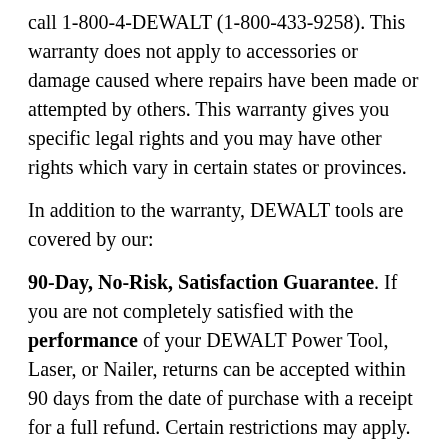call 1-800-4-DEWALT (1-800-433-9258). This warranty does not apply to accessories or damage caused where repairs have been made or attempted by others. This warranty gives you specific legal rights and you may have other rights which vary in certain states or provinces.
In addition to the warranty, DEWALT tools are covered by our:
90-Day, No-Risk, Satisfaction Guarantee. If you are not completely satisfied with the performance of your DEWALT Power Tool, Laser, or Nailer, returns can be accepted within 90 days from the date of purchase with a receipt for a full refund. Certain restrictions may apply.
One-Year Free Service Contract. DeWalt will maintain your tool and replace worn parts for free, anytime during the first year after purchase.
EXCEPTIONS This warranty is good only for products purchased on or after January 1, 2004. The DEWALT generators, compressors and pressure washers are products that are exceptions to this warranty.